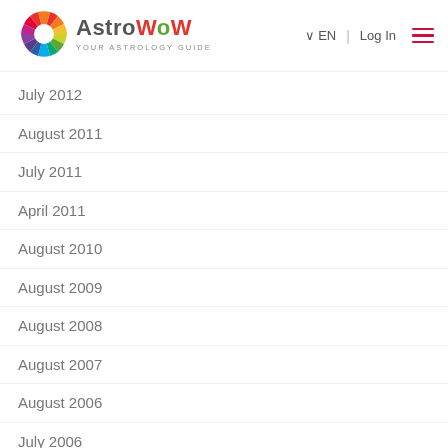AstroWoW - Your Astrology Guide | EN | Log In
July 2012
August 2011
July 2011
April 2011
August 2010
August 2009
August 2008
August 2007
August 2006
July 2006
August 2005
July 2005